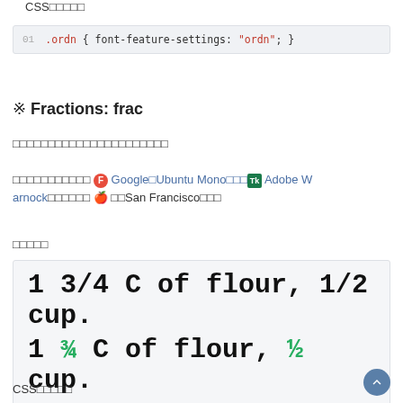CSS□□□□□
[Figure (screenshot): Code block showing CSS: .ordn { font-feature-settings: "ordn"; } with line number 01]
* Fractions: frac
□□□□□□□□□□□□□□□□□□□□□□
□□□□□□□□□□□ F Google□Ubuntu Mono□□□ Tk Adobe Warnock□□□□□□ Apple □□San Francisco□□□
□□□□□
[Figure (screenshot): Demo box showing two lines: '1 3/4 C of flour, 1/2 cup.' in plain text and '1 ¾ C of flour, ½ cup.' with fractions in green]
CSS□□□□□